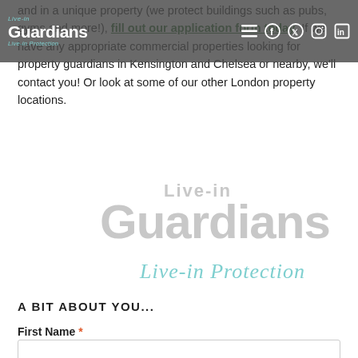Live-in Guardians navigation bar with logo and social icons
and in a unique property (we protect buildings such as pubs, gyms and more!), fill out our application form today. If we have any appropriate commercial properties looking for property guardians in Kensington and Chelsea or nearby, we'll contact you! Or look at some of our other London property locations.
[Figure (logo): Live-in Guardians watermark logo with 'Live-in Protection' tagline]
A BIT ABOUT YOU...
First Name *
Last Name *